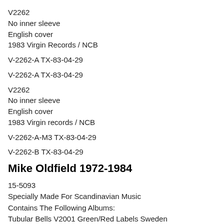V2262
No inner sleeve
English cover
1983 Virgin Records / NCB
V-2262-A TX-83-04-29
V-2262-A TX-83-04-29
V2262
No inner sleeve
English cover
1983 Virgin records / NCB
V-2262-A-M3 TX-83-04-29
V-2262-B TX-83-04-29
Mike Oldfield 1972-1984
15-5093
Specially Made For Scandinavian Music
Contains The Following Albums:
Tubular Bells V2001 Green/Red Labels Sweden
Hergest Ridge  88134-610 Green/Red Labels Germany
The Orchestral Tubular Bells 88 559-270 Green/Red Labels Germany